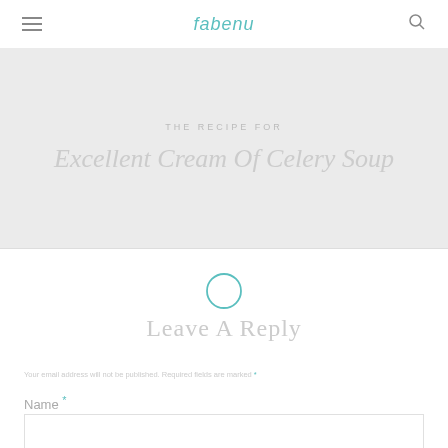fabenu
Excellent Cream Of Celery Soup
Leave A Reply
Your email address will not be published. Required fields are marked *
Name *